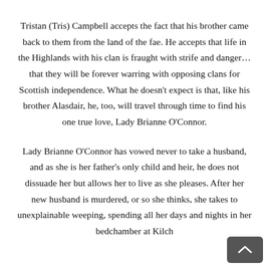Tristan (Tris) Campbell accepts the fact that his brother came back to them from the land of the fae. He accepts that life in the Highlands with his clan is fraught with strife and danger… that they will be forever warring with opposing clans for Scottish independence. What he doesn't expect is that, like his brother Alasdair, he, too, will travel through time to find his one true love, Lady Brianne O'Connor.
Lady Brianne O'Connor has vowed never to take a husband, and as she is her father's only child and heir, he does not dissuade her but allows her to live as she pleases. After her new husband is murdered, or so she thinks, she takes to unexplainable weeping, spending all her days and nights in her bedchamber at Kilch…